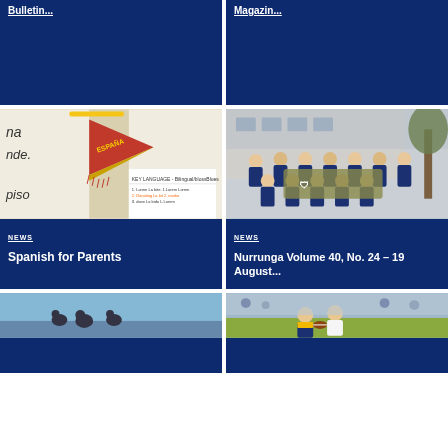[Figure (screenshot): Top-left card with dark navy background and partial white underlined title text (truncated)]
[Figure (screenshot): Top-right card with dark navy background and partial white underlined title text 'Magazin...']
[Figure (photo): Classroom photo showing a Spain (España) pennant hanging on a wall with whiteboards and language learning posters]
NEWS
Spanish for Parents
[Figure (photo): Group photo of students and staff in navy blazers holding a shield trophy, standing outside a building]
NEWS
Nurrunga Volume 40, No. 24 – 19 August...
[Figure (photo): Partial photo at bottom-left showing what appears to be animal silhouettes on a rooftop against a blue sky]
[Figure (photo): Partial photo at bottom-right showing a rugby match with players in blue and gold uniforms running with the ball]